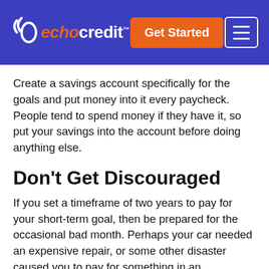echocredit | Get Started | [menu]
Create a savings account specifically for the goals and put money into it every paycheck. People tend to spend money if they have it, so put your savings into the account before doing anything else.
Don't Get Discouraged
If you set a timeframe of two years to pay for your short-term goal, then be prepared for the occasional bad month. Perhaps your car needed an expensive repair, or some other disaster caused you to pay for something in an emergency.
These things happen and it may put your goal planning off course. When this happens, don't get